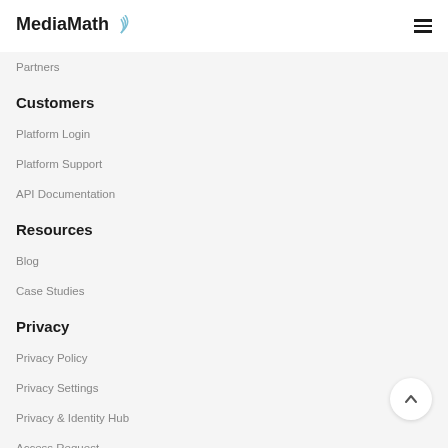MediaMath
Partners
Customers
Platform Login
Platform Support
API Documentation
Resources
Blog
Case Studies
Privacy
Privacy Policy
Privacy Settings
Privacy & Identity Hub
Access Request